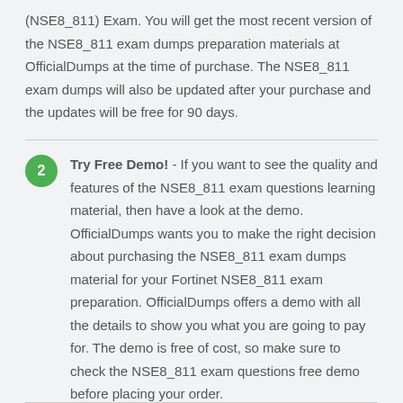(NSE8_811) Exam. You will get the most recent version of the NSE8_811 exam dumps preparation materials at OfficialDumps at the time of purchase. The NSE8_811 exam dumps will also be updated after your purchase and the updates will be free for 90 days.
Try Free Demo! - If you want to see the quality and features of the NSE8_811 exam questions learning material, then have a look at the demo. OfficialDumps wants you to make the right decision about purchasing the NSE8_811 exam dumps material for your Fortinet NSE8_811 exam preparation. OfficialDumps offers a demo with all the details to show you what you are going to pay for. The demo is free of cost, so make sure to check the NSE8_811 exam questions free demo before placing your order.